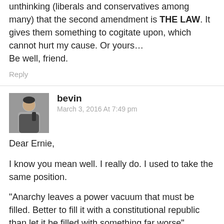unthinking (liberals and conservatives among many) that the second amendment is THE LAW. It gives them something to cogitate upon, which cannot hurt my cause. Or yours…
Be well, friend.
Reply
bevin
March 3, 2016 At 7:49 pm
Dear Ernie,
I know you mean well. I really do. I used to take the same position.
"Anarchy leaves a power vacuum that must be filled. Better to fill it with a constitutional republic than let it be filled with something far worse".
Not so.